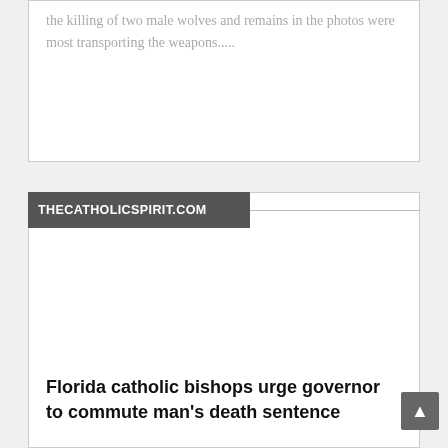the killing of two male wolves and remains in the photos were most transporting the weapons.....
THECATHOLICSPIRIT.COM
[Figure (other): Empty white image area within article card]
Florida catholic bishops urge governor to commute man's death sentence